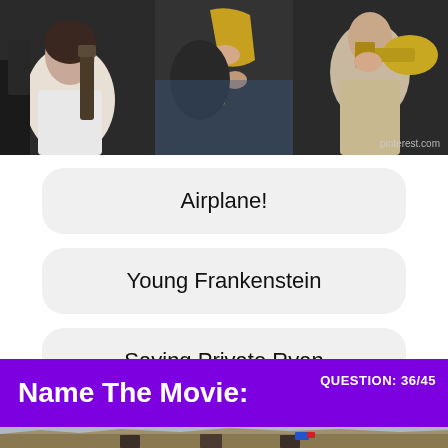[Figure (photo): Photo of musicians playing saxophone and trumpet instruments, people in various positions playing wind instruments]
Airplane!
Young Frankenstein
Saving Private Ryan
[Figure (logo): Circular pink/rose colored logo with W letter inside]
Name The Movie:
QUESTION: 36/45
[Figure (photo): Photo of people in desert/rocky terrain landscape, appears to be action scene]